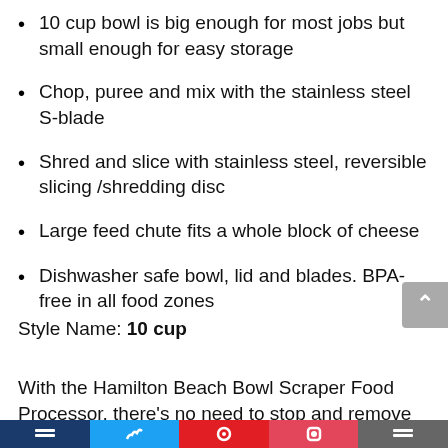10 cup bowl is big enough for most jobs but small enough for easy storage
Chop, puree and mix with the stainless steel S-blade
Shred and slice with stainless steel, reversible slicing /shredding disc
Large feed chute fits a whole block of cheese
Dishwasher safe bowl, lid and blades. BPA-free in all food zones
Style Name: 10 cup
With the Hamilton Beach Bowl Scraper Food Processor, there's no need to stop and remove the lid to dislodge food